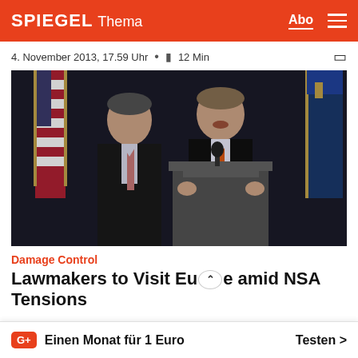SPIEGEL Thema — Abo
4. November 2013, 17.59 Uhr • 12 Min
[Figure (photo): Two men in suits standing at a podium with microphones. The man on the right is speaking and wearing an orange tie. An American flag and a Connecticut state flag are visible in the background.]
Damage Control
Lawmakers to Visit Europe amid NSA Tensions
Einen Monat für 1 Euro  Testen >